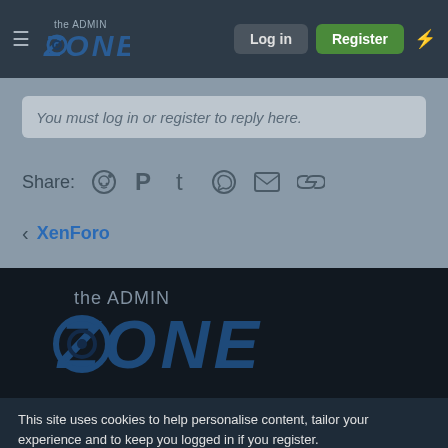the ADMIN ZONE — Log in | Register
You must log in or register to reply here.
Share: [reddit] [pinterest] [tumblr] [whatsapp] [email] [link]
< XenForo
[Figure (logo): The Admin Zone logo — large version on dark background]
This site uses cookies to help personalise content, tailor your experience and to keep you logged in if you register.
By continuing to use this site, you are consenting to our use of cookies.
✓ Accept   Learn more...